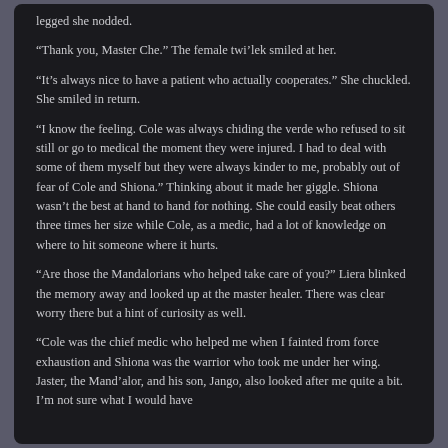legged she nodded.
“Thank you, Master Che.” The female twi’lek smiled at her.
“It’s always nice to have a patient who actually cooperates.” She chuckled. She smiled in return.
“I know the feeling. Cole was always chiding the verde who refused to sit still or go to medical the moment they were injured. I had to deal with some of them myself but they were always kinder to me, probably out of fear of Cole and Shiona.” Thinking about it made her giggle. Shiona wasn’t the best at hand to hand for nothing. She could easily beat others three times her size while Cole, as a medic, had a lot of knowledge on where to hit someone where it hurts.
“Are those the Mandalorians who helped take care of you?” Liera blinked the memory away and looked up at the master healer. There was clear worry there but a hint of curiosity as well.
“Cole was the chief medic who helped me when I fainted from force exhaustion and Shiona was the warrior who took me under her wing. Jaster, the Mand’alor, and his son, Jango, also looked after me quite a bit. I’m not sure what I would have